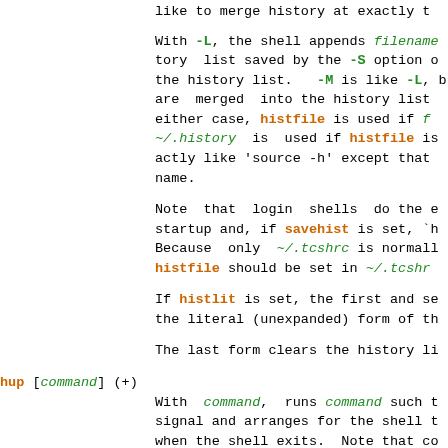like to merge history at exactly t...
With -L, the shell appends filename... tory list saved by the -S option... the history list. -M is like -L, b... are merged into the history list... either case, histfile is used if f... ~/.history is used if histfile is... actly like 'source -h' except that... name.
Note that login shells do the e... startup and, if savehist is set, `h... Because only ~/.tcshrc is normall... histfile should be set in ~/.tcshr...
If histlit is set, the first and se... the literal (unexpanded) form of th...
The last form clears the history li...
hup [command] (+)
With command, runs command such t... signal and arranges for the shell t... when the shell exits. Note that co... sponse to hangups, overriding hup.... the non-interactive shell only to... mainder of the script. See also Si...